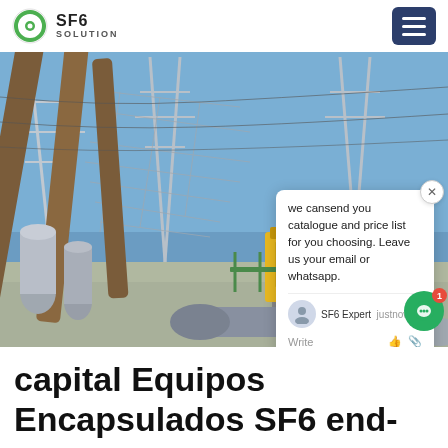SF6 SOLUTION
[Figure (photo): Electrical substation with high-voltage transmission towers, insulators, and a yellow SF6 gas equipment cabinet/container, with a chat popup overlay showing 'we cansend you catalogue and price list for you choosing. Leave us your email or whatsapp.' and SF6China watermark]
capital Equipos Encapsulados SF6 end-